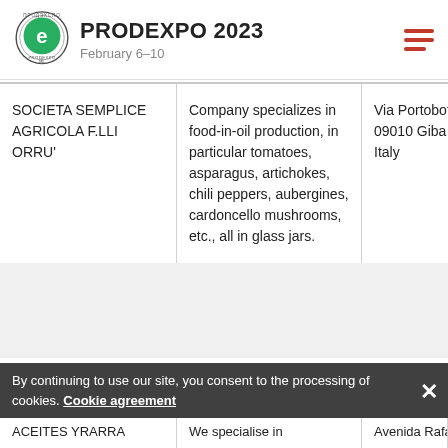PRODEXPO 2023 February 6–10
| Company | Description | Address |
| --- | --- | --- |
| SOCIETA SEMPLICE AGRICOLA F.LLI ORRU' | Company specializes in food-in-oil production, in particular tomatoes, asparagus, artichokes, chili peppers, aubergines, cardoncello mushrooms, etc., all in glass jars. | Via Portobotto 09010 Giba (S Italy |
| ACEITES YRARRA | We specialise in | Avenida Rafa... |
By continuing to use our site, you consent to the processing of cookies. Cookie agreement